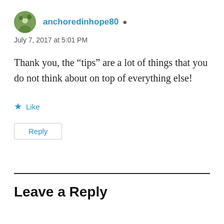anchoredinhope80
July 7, 2017 at 5:01 PM
Thank you, the “tips” are a lot of things that you do not think about on top of everything else!
Like
Reply
Leave a Reply